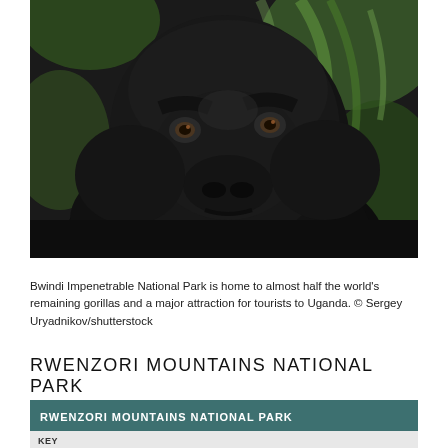[Figure (photo): Close-up photograph of a mountain gorilla with dark fur, looking slightly upward, set against a blurred green forest background. The gorilla's face fills most of the frame.]
Bwindi Impenetrable National Park is home to almost half the world's remaining gorillas and a major attraction for tourists to Uganda. © Sergey Uryadnikov/shutterstock
RWENZORI MOUNTAINS NATIONAL PARK
[Figure (map): Rwenzori Mountains National Park map with teal header bar reading 'RWENZORI MOUNTAINS NATIONAL PARK' and a KEY section visible at the bottom left of the map area.]